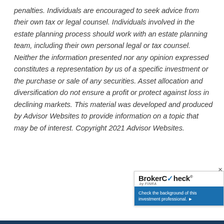penalties. Individuals are encouraged to seek advice from their own tax or legal counsel. Individuals involved in the estate planning process should work with an estate planning team, including their own personal legal or tax counsel. Neither the information presented nor any opinion expressed constitutes a representation by us of a specific investment or the purchase or sale of any securities. Asset allocation and diversification do not ensure a profit or protect against loss in declining markets. This material was developed and produced by Advisor Websites to provide information on a topic that may be of interest. Copyright 2021 Advisor Websites.
[Figure (logo): BrokerCheck by FINRA logo widget with blue background banner reading 'Check the background of this investment professional.' and a close button.]